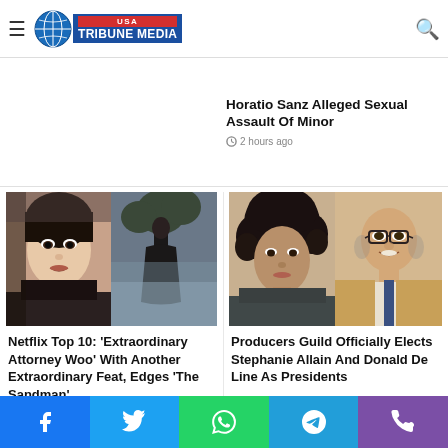USA Tribune Media
HBO Max VP Nikki Reed...
Woman Claims Jimmy Fallon, Tracy Morgan & Lorne Michaels Were 'Enablers' In Horatio Sanz Alleged Sexual Assault Of Minor
2 hours ago
[Figure (photo): Left: Asian woman with bangs looking at camera. Right: Dark figure in misty atmosphere with trees - Netflix Extraordinary Attorney Woo / The Sandman promo image]
Netflix Top 10: 'Extraordinary Attorney Woo' With Another Extraordinary Feat, Edges 'The Sandman'
2 hours ago
[Figure (photo): Left: Woman with curly dark hair. Right: Bald man with glasses in tan jacket - Producers Guild photo]
Producers Guild Officially Elects Stephanie Allain And Donald De Line As Presidents
2 hours ago
Social share buttons: Facebook, Twitter, WhatsApp, Telegram, Phone